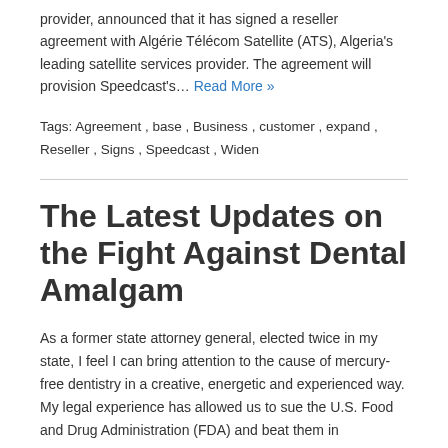provider, announced that it has signed a reseller agreement with Algérie Télécom Satellite (ATS), Algeria's leading satellite services provider. The agreement will provision Speedcast's… Read More »
Tags: Agreement , base , Business , customer , expand , Reseller , Signs , Speedcast , Widen
The Latest Updates on the Fight Against Dental Amalgam
As a former state attorney general, elected twice in my state, I feel I can bring attention to the cause of mercury-free dentistry in a creative, energetic and experienced way. My legal experience has allowed us to sue the U.S. Food and Drug Administration (FDA) and beat them in